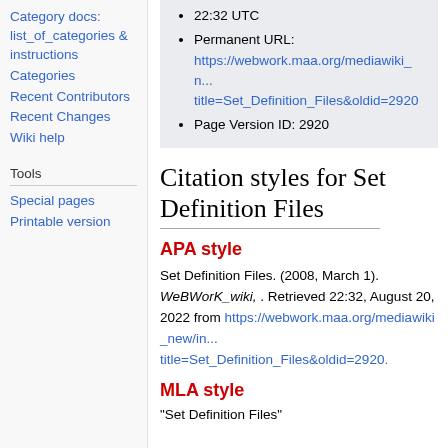22:32 UTC
Permanent URL: https://webwork.maa.org/mediawiki_new/index.php?title=Set_Definition_Files&oldid=2920
Page Version ID: 2920
Category docs: list_of_categories & instructions
Categories
Recent Contributors
Recent Changes
Wiki help
Tools
Special pages
Printable version
Citation styles for Set Definition Files
APA style
Set Definition Files. (2008, March 1). WeBWorK_wiki, . Retrieved 22:32, August 20, 2022 from https://webwork.maa.org/mediawiki_new/index.php?title=Set_Definition_Files&oldid=2920.
MLA style
"Set Definition Files"